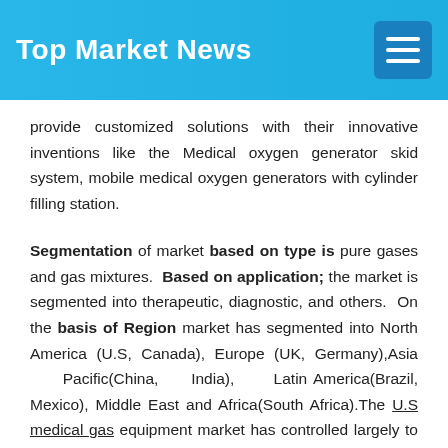Top Market News
provide customized solutions with their innovative inventions like the Medical oxygen generator skid system, mobile medical oxygen generators with cylinder filling station.
Segmentation of market based on type is pure gases and gas mixtures. Based on application; the market is segmented into therapeutic, diagnostic, and others. On the basis of Region market has segmented into North America (U.S, Canada), Europe (UK, Germany),Asia Pacific(China, India), Latin America(Brazil, Mexico), Middle East and Africa(South Africa).The U.S medical gas equipment market has controlled largely to the market share and is expected to lead in the future. Projecting about encourage industry